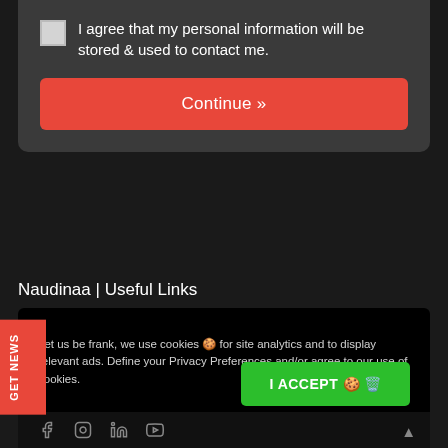I agree that my personal information will be stored & used to contact me.
Continue »
Naudinaa | Useful Links
Let us be frank, we use cookies 🍪 for site analytics and to display relevant ads. Define your Privacy Preferences and/or agree to our use of cookies.
PRIVACY PREFERENCES
I ACCEPT 🍪 🗑️